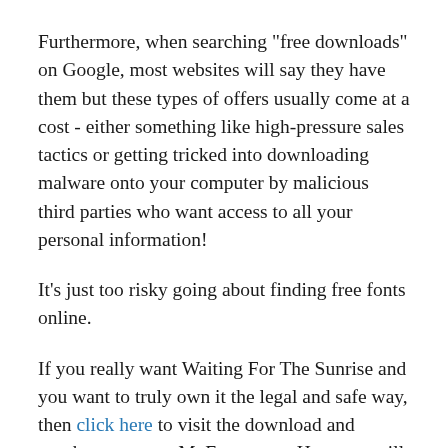Furthermore, when searching "free downloads" on Google, most websites will say they have them but these types of offers usually come at a cost - either something like high-pressure sales tactics or getting tricked into downloading malware onto your computer by malicious third parties who want access to all your personal information!
It's just too risky going about finding free fonts online.
If you really want Waiting For The Sunrise and you want to truly own it the legal and safe way, then click here to visit the download and purchase page on MyFonts.com. Here you will be able to obtain the proper license. The designer and publisher deserves to be paid for their work, as they have put in the